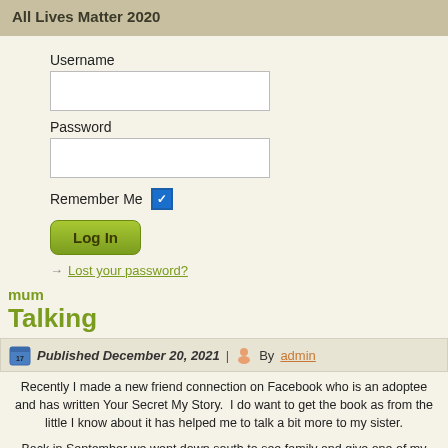All Lives Matter 2020
Username
Password
Remember Me
Log In
Lost your password?
mum
Talking
Published December 20, 2021 | By admin
Recently I made a new friend connection on Facebook who is an adoptee and has written Your Secret My Story.  I do want to get the book as from the little I know about it has helped me to talk a bit more to my sister.
Back in September we went down south to see family and give one of my sister's granddaughters, our great niece, her birthday present.  Before we came back my sister and I went through some crates that had come from our Dad's home after he passed on.  We came home with two crates of photographs and a